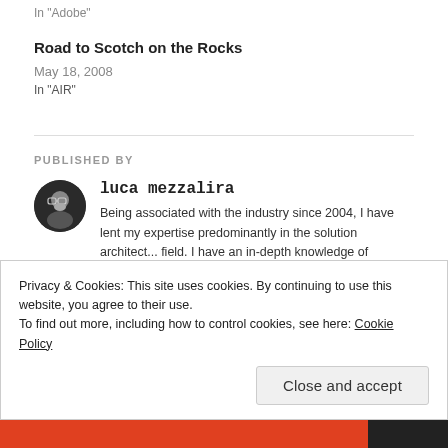In "Adobe"
Road to Scotch on the Rocks
May 18, 2008
In "AIR"
PUBLISHED BY
[Figure (photo): Circular avatar photo of luca mezzalira — a man with glasses and beard on dark background]
luca mezzalira
Being associated with the industry since 2004, I have lent my expertise predominantly in the solution architect... field. I have an in-depth knowledge of...
Privacy & Cookies: This site uses cookies. By continuing to use this website, you agree to their use.
To find out more, including how to control cookies, see here: Cookie Policy
Close and accept